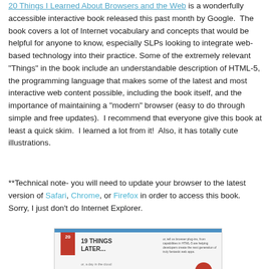20 Things I Learned About Browsers and the Web is a wonderfully accessible interactive book released this past month by Google. The book covers a lot of Internet vocabulary and concepts that would be helpful for anyone to know, especially SLPs looking to integrate web-based technology into their practice. Some of the extremely relevant "Things" in the book include an understandable description of HTML-5, the programming language that makes some of the latest and most interactive web content possible, including the book itself, and the importance of maintaining a "modern" browser (easy to do through simple and free updates). I recommend that everyone give this book at least a quick skim. I learned a lot from it! Also, it has totally cute illustrations.
**Technical note- you will need to update your browser to the latest version of Safari, Chrome, or Firefox in order to access this book. Sorry, I just don't do Internet Explorer.
[Figure (screenshot): Screenshot of a page from the book '20 Things I Learned About Browsers and the Web' showing page 19 titled '19 THINGS LATER...' with a bookmark icon showing '20' and some small text on the right side.]